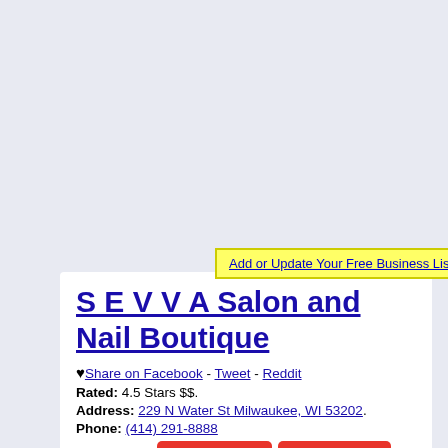Add or Update Your Free Business Listing
S E V V A Salon and Nail Boutique
♥ Share on Facebook - Tweet - Reddit
Rated: 4.5 Stars $$.
Address: 229 N Water St Milwaukee, WI 53202.
Phone: (414) 291-8888
Specialties: Hair Salons  Nail Salons  Waxing .
★ Reviews  ✎ Write A Review